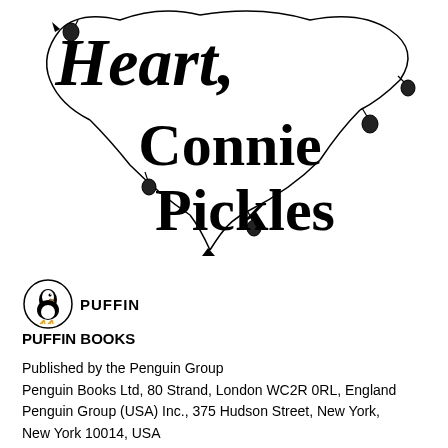[Figure (illustration): Book title illustration showing 'Heart, Connie Pickles' text in decorative hand-lettered style with fairy lights/string lights forming a heart shape around the text, drawn in black ink on white background]
[Figure (logo): Puffin Books logo: oval shape containing a puffin bird illustration, with 'PUFFIN' text to the right]
PUFFIN BOOKS
Published by the Penguin Group
Penguin Books Ltd, 80 Strand, London WC2R 0RL, England
Penguin Group (USA) Inc., 375 Hudson Street, New York, New York 10014, USA
Penguin Group (Canada), 10 Alcorn Avenue, Toronto